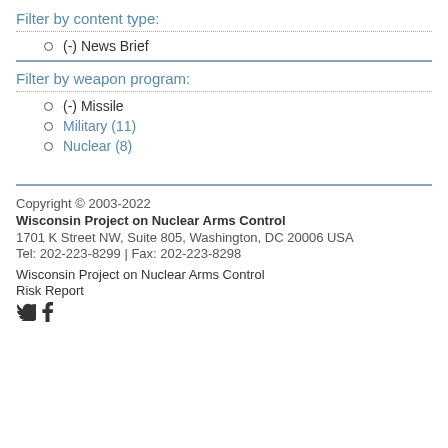Filter by content type:
(-) News Brief
Filter by weapon program:
(-) Missile
Military (11)
Nuclear (8)
Copyright © 2003-2022
Wisconsin Project on Nuclear Arms Control
1701 K Street NW, Suite 805, Washington, DC 20006 USA
Tel: 202-223-8299 | Fax: 202-223-8298

Wisconsin Project on Nuclear Arms Control
Risk Report